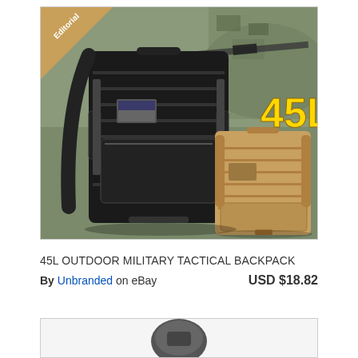[Figure (photo): Product listing image of a 45L outdoor military tactical backpack. Shows a large black backpack in the foreground and a tan/coyote brown backpack behind it. Background shows a soldier in camouflage. Yellow bold text reading '45L' is overlaid. An 'Editorial' badge triangle is visible in the top-left corner.]
45L OUTDOOR MILITARY TACTICAL BACKPACK
By Unbranded on eBay  USD $18.82